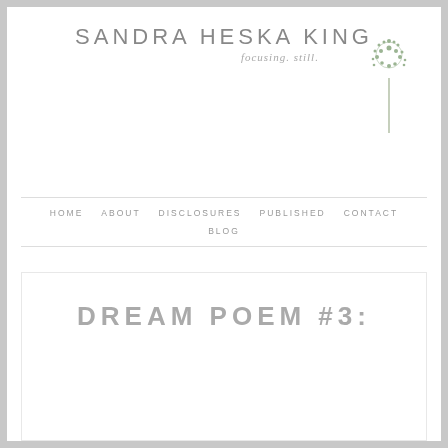SANDRA HESKA KING focusing. still.
[Figure (illustration): Watercolor dandelion or Queen Anne's lace flower illustration in muted green tones]
HOME
ABOUT
DISCLOSURES
PUBLISHED
CONTACT
BLOG
DREAM POEM #3: